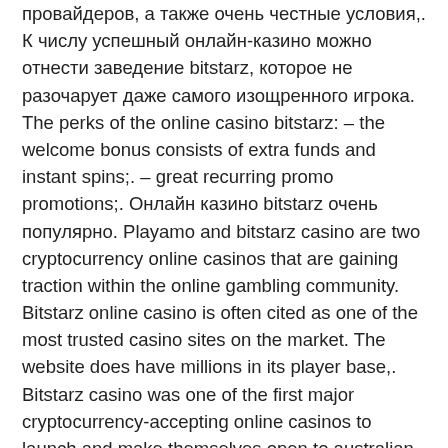провайдеров, а также очень честные условия,. К числу успешный онлайн-казино можно отнести заведение bitstarz, которое не разочарует даже самого изощренного игрока. The perks of the online casino bitstarz: – the welcome bonus consists of extra funds and instant spins;. – great recurring promo promotions;. Онлайн казино bitstarz очень популярно. Playamo and bitstarz casino are two cryptocurrency online casinos that are gaining traction within the online gambling community. Bitstarz online casino is often cited as one of the most trusted casino sites on the market. The website does have millions in its player base,. Bitstarz casino was one of the first major cryptocurrency-accepting online casinos to launch and make themselves open to australian players. Азартные игры на сегодняшний